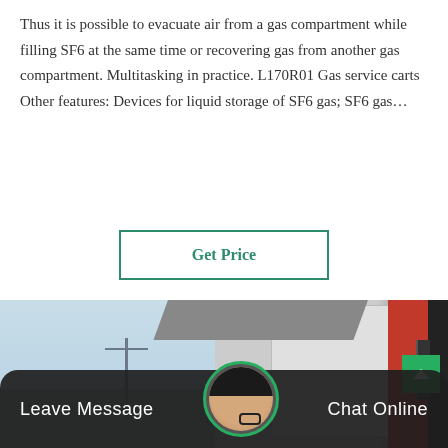Thus it is possible to evacuate air from a gas compartment while filling SF6 at the same time or recovering gas from another gas compartment. Multitasking in practice. L170R01 Gas service carts Other features: Devices for liquid storage of SF6 gas; SF6 gas…
Get Price
[Figure (photo): Outdoor photo showing industrial/railway equipment including gas service carts, a canopy/overhead structure, power pylons and transmission towers in the background against a blue sky.]
Leave Message
Chat Online